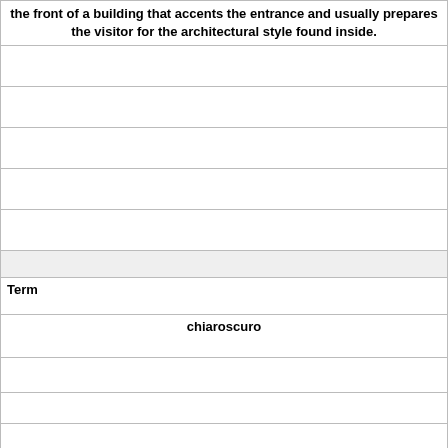the front of a building that accents the entrance and usually prepares the visitor for the architectural style found inside.
| Term |
| --- |
| chiaroscuro |
|  |
|  |
|  |
|  |
|  |
| Definition |
Definition